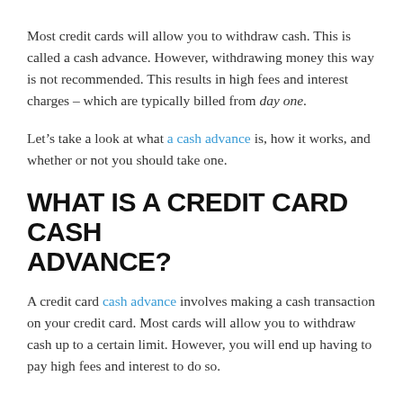Most credit cards will allow you to withdraw cash. This is called a cash advance. However, withdrawing money this way is not recommended. This results in high fees and interest charges – which are typically billed from day one.
Let's take a look at what a cash advance is, how it works, and whether or not you should take one.
WHAT IS A CREDIT CARD CASH ADVANCE?
A credit card cash advance involves making a cash transaction on your credit card. Most cards will allow you to withdraw cash up to a certain limit. However, you will end up having to pay high fees and interest to do so.